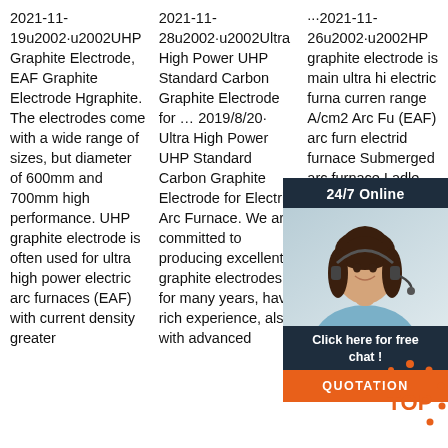2021-11-19u2002·u2002UHP Graphite Electrode, EAF Graphite Electrode Hgraphite. The electrodes come with a wide range of sizes, but diameter of 600mm and 700mm high performance. UHP graphite electrode is often used for ultra high power electric arc furnaces (EAF) with current density greater
2021-11-28u2002·u2002Ultra High Power UHP Standard Carbon Graphite Electrode for … 2019/8/20· Ultra High Power UHP Standard Carbon Graphite Electrode for Electric Arc Furnace. We are committed to producing excellent graphite electrodes for many years, have rich experience, also with advanced
···2021-11-26u2002·u2002HP graphite electrode is main ultra hi electric furna curren range A/cm2 Arc Fu (EAF) arc furn electrid furnace Submerged arc furnace Ladle Furnace (LF) Advantage Anti-oxidation
[Figure (other): Live chat widget with woman wearing headset, '24/7 Online' header, 'Click here for free chat!' subtitle, and orange QUOTATION button]